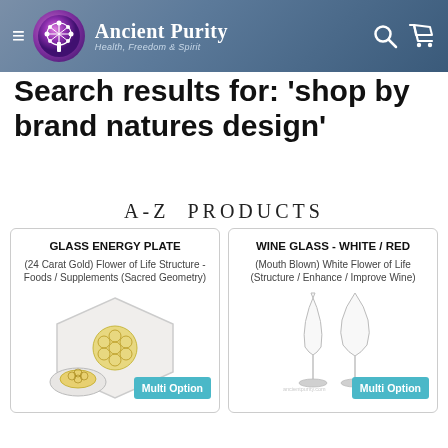[Figure (screenshot): Ancient Purity website header with logo, brand name, hamburger menu, search and cart icons on a blue-grey gradient background]
Search results for: 'shop by brand natures design'
A-Z PRODUCTS
GLASS ENERGY PLATE
(24 Carat Gold) Flower of Life Structure - Foods / Supplements (Sacred Geometry)
[Figure (photo): Glass energy plate with hexagonal shape and flower of life pattern in gold]
WINE GLASS - WHITE / RED
(Mouth Blown) White Flower of Life (Structure / Enhance / Improve Wine)
[Figure (photo): Two wine glasses - white wine glass and red wine glass]